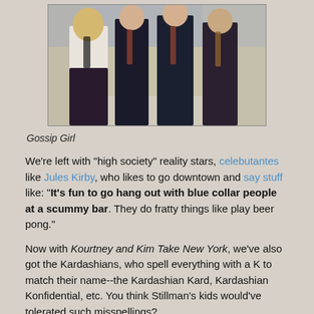[Figure (photo): Cast photo of Gossip Girl TV show — a blonde woman in school uniform with three young men in blazers and ties, posing in front of a building]
Gossip Girl
We're left with "high society" reality stars, celebutantes like Jules Kirby, who likes to go downtown and say stuff like: "It's fun to go hang out with blue collar people at a scummy bar. They do fratty things like play beer pong."
Now with Kourtney and Kim Take New York, we've also got the Kardashians, who spell everything with a K to match their name--the Kardashian Kard, Kardashian Konfidential, etc. You think Stillman's kids would've tolerated such misspellings?
[Figure (photo): Dark promotional photo showing two women (Kourtney and Kim Kardashian) against a city skyline backdrop]